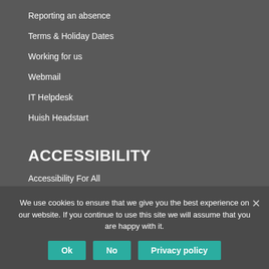Reporting an absence
Terms & Holiday Dates
Working for us
Webmail
IT Helpdesk
Huish Headstart
ACCESSIBILITY
Accessibility For All
©copyright Richard Huish
We use cookies to ensure that we give you the best experience on our website. If you continue to use this site we will assume that you are happy with it.